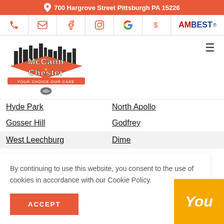700 Hargrove Street Pittsburgh PA 15226
[Figure (screenshot): Navigation icon row with phone, email, Facebook, Instagram, Google, dollar sign, and AM Best logo icons]
[Figure (logo): McCann Chester towing company logo with city skyline, orange diamond shape, and towing hook. Text: McCann & Chester, YOUR CHOICE OUR CARE]
Hyde Park | North Apollo
Gosser Hill | Godfrey
West Leechburg | Dime
By continuing to use this website, you consent to the use of cookies in accordance with our Cookie Policy.
ACCEPT
[Figure (screenshot): Yellow button at bottom right showing 'You' text in white italic]